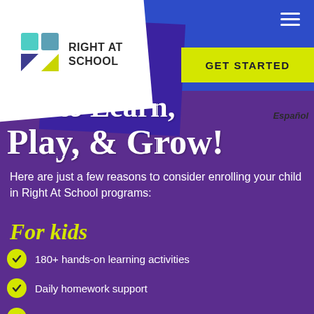[Figure (logo): Right At School logo with geometric shapes in teal, purple, and green/yellow on a white card, with text RIGHT AT SCHOOL]
GET STARTED
Español
to Learn, Play, & Grow!
Here are just a few reasons to consider enrolling your child in Right At School programs:
For kids
180+ hands-on learning activities
Daily homework support
Team sports and classic playground games
Activities designed to build lifelong social skills